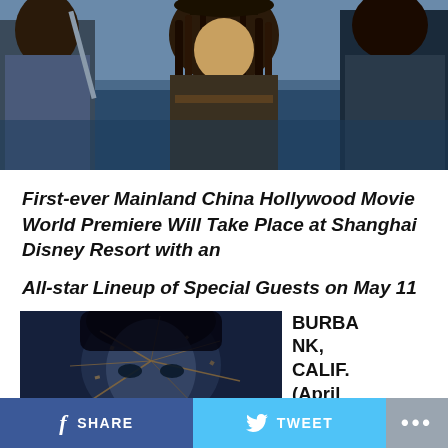[Figure (photo): Pirates of the Caribbean movie scene showing three characters in pirate costumes against a sea background]
First-ever Mainland China Hollywood Movie World Premiere Will Take Place at Shanghai Disney Resort with an
All-star Lineup of Special Guests on May 11
[Figure (photo): Movie poster or still showing a person with cracked/shattered face effect, dark dramatic styling]
BURBANK, CALIF. (April 25,
SHARE  TWEET  ...